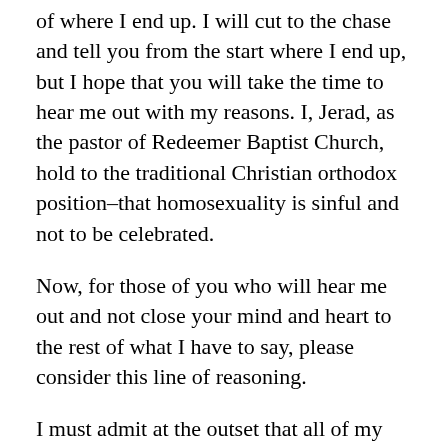of where I end up. I will cut to the chase and tell you from the start where I end up, but I hope that you will take the time to hear me out with my reasons. I, Jerad, as the pastor of Redeemer Baptist Church, hold to the traditional Christian orthodox position–that homosexuality is sinful and not to be celebrated.
Now, for those of you who will hear me out and not close your mind and heart to the rest of what I have to say, please consider this line of reasoning.
I must admit at the outset that all of my argument will be based on the assumption that the Bible is God's authoritative word. That in the Bible, God has spoken to human beings and has revealed to us the answers to the most important questions in life. What does it mean to be human? What is our greatest problem? Why is the world such a mess?